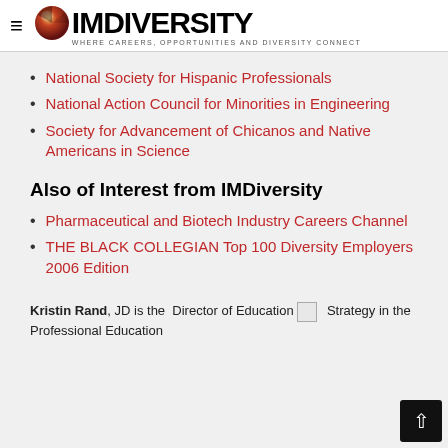IMDiversity — WHERE CAREERS, OPPORTUNITIES AND DIVERSITY CONNECT
National Society for Hispanic Professionals
National Action Council for Minorities in Engineering
Society for Advancement of Chicanos and Native Americans in Science
Also of Interest from IMDiversity
Pharmaceutical and Biotech Industry Careers Channel
THE BLACK COLLEGIAN Top 100 Diversity Employers 2006 Edition
Kristin Rand, JD is the Director of Education Strategy in the Professional Education